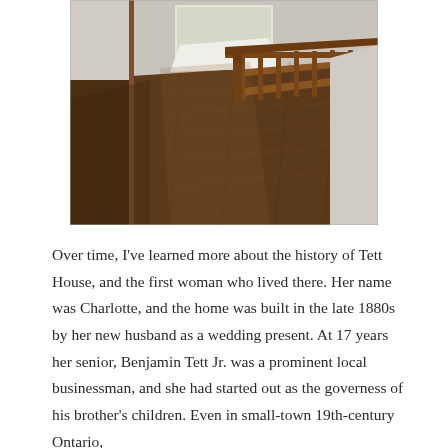[Figure (photo): Interior hallway of a historic house with wide dark hardwood plank flooring and a wooden staircase railing on the right side. The hallway leads toward a bright window in the background with white fabric draped over something. Walls are light grey/beige.]
Over time, I've learned more about the history of Tett House, and the first woman who lived there. Her name was Charlotte, and the home was built in the late 1880s by her new husband as a wedding present. At 17 years her senior, Benjamin Tett Jr. was a prominent local businessman, and she had started out as the governess of his brother's children. Even in small-town 19th-century Ontario, realities of status did hold...